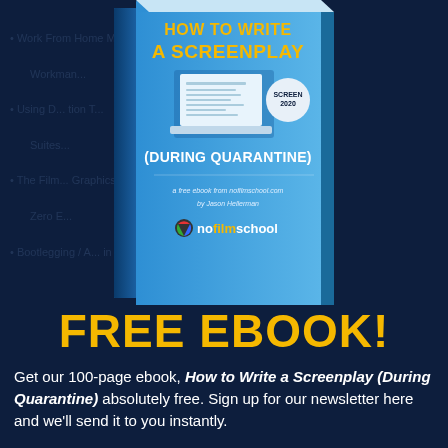[Figure (illustration): A 3D book cover for 'How to Write a Screenplay (During Quarantine)', a free ebook from nofilmschool.com by Jason Hellerman, shown at an angle with the nofilmschool logo at the bottom.]
FREE EBOOK!
Get our 100-page ebook, How to Write a Screenplay (During Quarantine) absolutely free. Sign up for our newsletter here and we'll send it to you instantly.